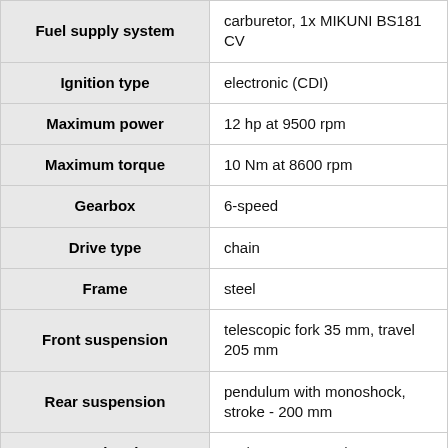| Attribute | Value |
| --- | --- |
| Fuel supply system | carburetor, 1x MIKUNI BS181 CV |
| Ignition type | electronic (CDI) |
| Maximum power | 12 hp at 9500 rpm |
| Maximum torque | 10 Nm at 8600 rpm |
| Gearbox | 6-speed |
| Drive type | chain |
| Frame | steel |
| Front suspension | telescopic fork 35 mm, travel 205 mm |
| Rear suspension | pendulum with monoshock, stroke - 200 mm |
| Front tire size | 70 / 100-21 or 80 / 80-21 |
| Rear tire size | 90 / 90-18 |
| (partial) | 1 disc, 230 mm, 1 piston |